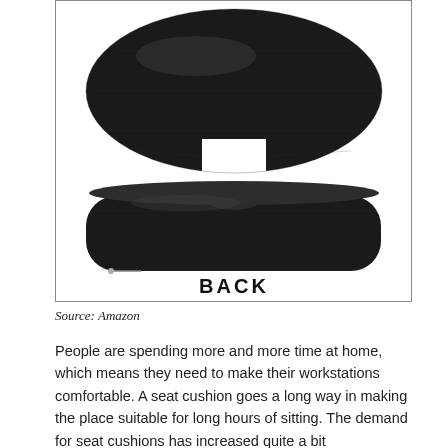[Figure (photo): Product photo showing a black seat cushion with ergonomic cutout, shown from two angles (top view and side/back view). The word BACK is printed below the two views inside a bordered box.]
Source: Amazon
People are spending more and more time at home, which means they need to make their workstations comfortable. A seat cushion goes a long way in making the place suitable for long hours of sitting. The demand for seat cushions has increased quite a bit